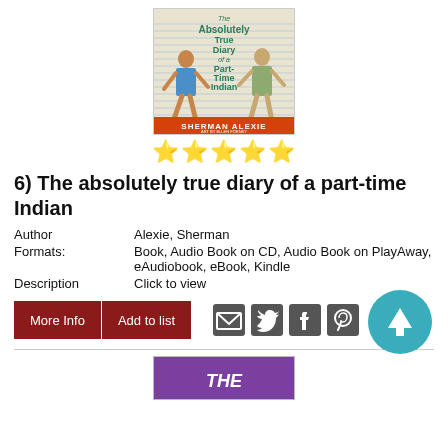[Figure (illustration): Book cover of 'The Absolutely True Diary of a Part-Time Indian' by Sherman Alexie, art by Ellen Forney. Shows two figures and handwritten-style title text on lined paper background.]
[Figure (other): Five yellow star rating icons]
6) The absolutely true diary of a part-time Indian
Author    Alexie, Sherman
Formats:    Book, Audio Book on CD, Audio Book on PlayAway, eAudiobook, eBook, Kindle
Description    Click to view
[Figure (other): Two red buttons labeled 'More Info' and 'Add to list', and social sharing icons for email, Twitter, Facebook, Pinterest]
[Figure (other): Teal circle with white upward arrow (scroll to top button)]
[Figure (illustration): Partial view of another book cover with purple background at the bottom of the page]